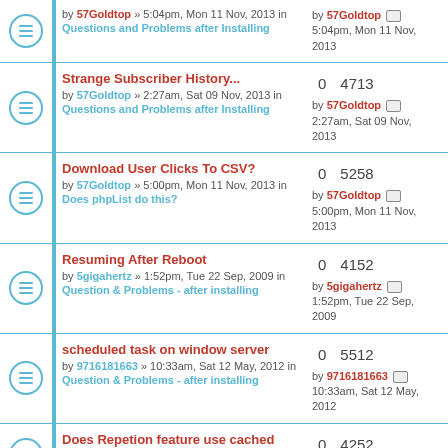by 57Goldtop » 5:04pm, Mon 11 Nov, 2013 in Questions and Problems after Installing | 0 replies, 4??? views | by 57Goldtop 5:04pm, Mon 11 Nov, 2013
Strange Subscriber History... by 57Goldtop » 2:27am, Sat 09 Nov, 2013 in Questions and Problems after Installing | 0 replies, 4713 views | by 57Goldtop 2:27am, Sat 09 Nov, 2013
Download User Clicks To CSV? by 57Goldtop » 5:00pm, Mon 11 Nov, 2013 in Does phpList do this? | 0 replies, 5258 views | by 57Goldtop 5:00pm, Mon 11 Nov, 2013
Resuming After Reboot by 5gigahertz » 1:52pm, Tue 22 Sep, 2009 in Question & Problems - after installing | 0 replies, 4152 views | by 5gigahertz 1:52pm, Tue 22 Sep, 2009
scheduled task on window server by 9716181663 » 10:33am, Sat 12 May, 2012 in Question & Problems - after installing | 0 replies, 5512 views | by 9716181663 10:33am, Sat 12 May, 2012
Does Repetion feature use cached Attachment? by 9802236 » 10:32am, Thu 01 Apr, 2010 in | 0 replies, 4252 views